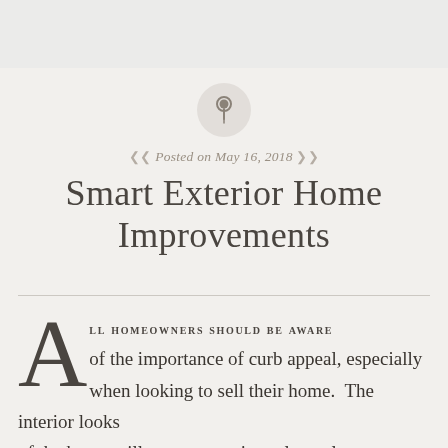[Figure (illustration): Circular pin/thumbtack icon with light grey background circle]
Posted on May 16, 2018
Smart Exterior Home Improvements
ALL HOMEOWNERS SHOULD BE AWARE of the importance of curb appeal, especially when looking to sell their home. The interior looks of the home will never come into play unless you